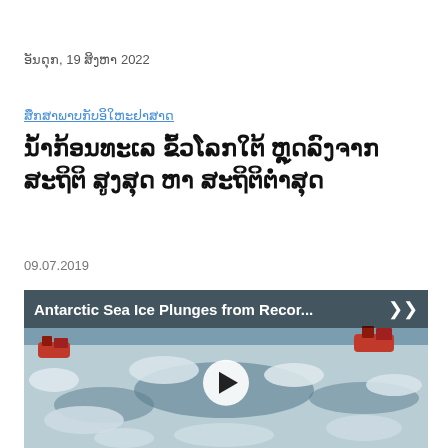ອັນດຸກ, 19 ສິງຫາ 2022
ສຶກສາພາບກັບອິໃຫະຢາສາດ
ນ້ຳກ້ອນທະເລ ຂົ້ວໂລກໃຕ້ ຫຼຸດລົງຈາກ ສະຖິຕິ ສູງສຸດ ຫາ ສະຖິຕິຕ່ຳສຸດ
09.07.2019
[Figure (screenshot): Video thumbnail showing Antarctic sea ice with boats navigating through ice floes. Title overlay reads 'Antarctic Sea Ice Plunges from Recor...' with a share icon and a play button in the center.]